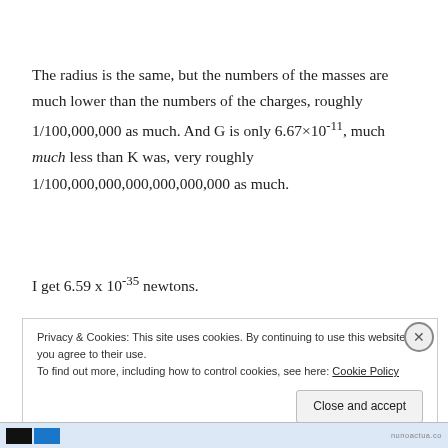The radius is the same, but the numbers of the masses are much lower than the numbers of the charges, roughly 1/100,000,000 as much. And G is only 6.67×10⁻¹¹, much much less than K was, very roughly 1/100,000,000,000,000,000,000 as much.
I get 6.59 x 10⁻³⁵ newtons.
Privacy & Cookies: This site uses cookies. By continuing to use this website, you agree to their use.
To find out more, including how to control cookies, see here: Cookie Policy
Close and accept